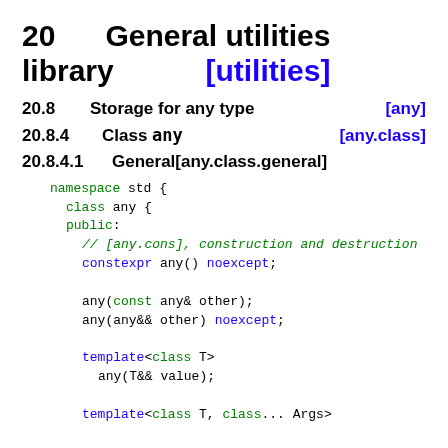20    General utilities library    [utilities]
20.8    Storage for any type    [any]
20.8.4    Class any    [any.class]
20.8.4.1    General[any.class.general]
namespace std {
    class any {
    public:
        // [any.cons], construction and destruction
        constexpr any() noexcept;

        any(const any& other);
        any(any&& other) noexcept;

        template<class T>
        any(T&& value);

        template<class T, class... Args>